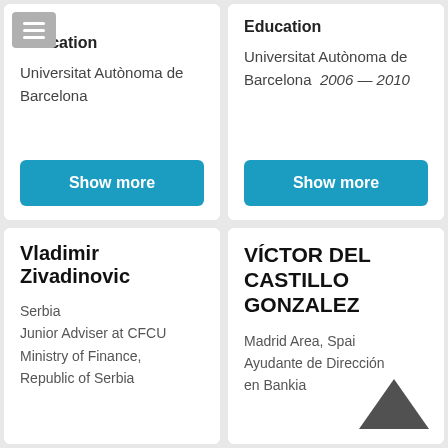Education
Universitat Autònoma de Barcelona
Show more
Education
Universitat Autònoma de Barcelona  2006 — 2010
Show more
Vladimir Zivadinovic
Serbia
Junior Adviser at CFCU Ministry of Finance, Republic of Serbia
VÍCTOR DEL CASTILLO GONZALEZ
Madrid Area, Spain
Ayudante de Dirección en Bankia